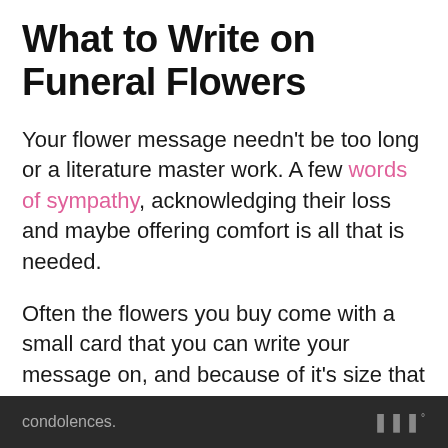What to Write on Funeral Flowers
Your flower message needn't be too long or a literature master work. A few words of sympathy, acknowledging their loss and maybe offering comfort is all that is needed.
Often the flowers you buy come with a small card that you can write your message on, and because of it's size that doesn't leave much room to write a lot. But a short and simple sentence or couple of lines is more than enough to express your condolences.
condolences.